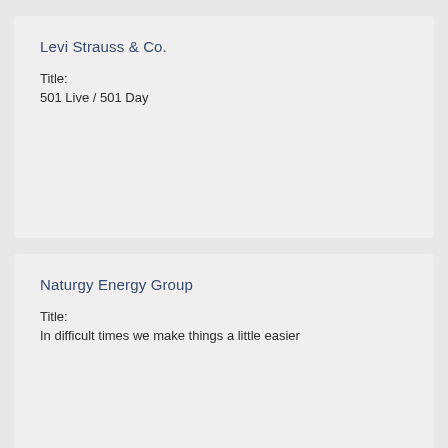Levi Strauss & Co.
Title:
501 Live / 501 Day
Naturgy Energy Group
Title:
In difficult times we make things a little easier